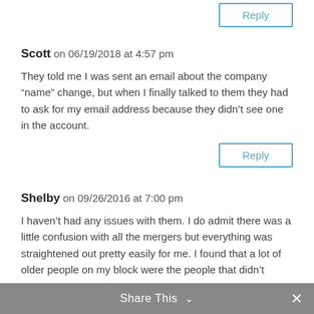Reply (button at top)
Scott on 06/19/2018 at 4:57 pm
They told me I was sent an email about the company “name” change, but when I finally talked to them they had to ask for my email address because they didn’t see one in the account.
Reply (button)
Shelby on 09/26/2016 at 7:00 pm
I haven’t had any issues with them. I do admit there was a little confusion with all the mergers but everything was straightened out pretty easily for me. I found that a lot of older people on my block were the people that didn’t
Share This